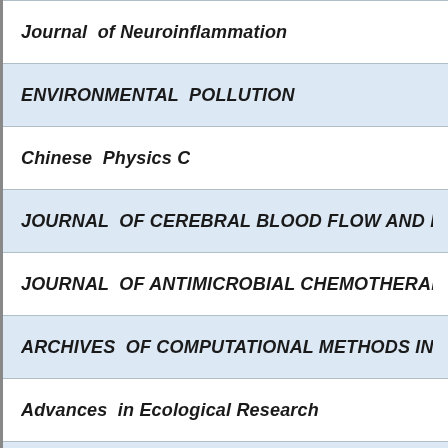| Journal  of Neuroinflammation |
| ENVIRONMENTAL  POLLUTION |
| Chinese  Physics C |
| JOURNAL  OF CEREBRAL BLOOD FLOW AND METABO… |
| JOURNAL  OF ANTIMICROBIAL CHEMOTHERAPY |
| ARCHIVES  OF COMPUTATIONAL METHODS IN ENGIN… |
| Advances  in Ecological Research |